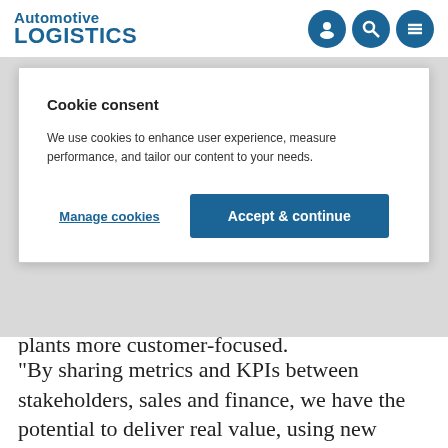Automotive LOGISTICS
Cookie consent
We use cookies to enhance user experience, measure performance, and tailor our content to your needs.
Manage cookies   Accept & continue
plants more customer-focused.
“By sharing metrics and KPIs between stakeholders, sales and finance, we have the potential to deliver real value, using new track-and-trace technologies and the use of automation and augmented reality in warehouse operations, as an example,” he added.